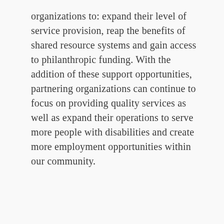organizations to: expand their level of service provision, reap the benefits of shared resource systems and gain access to philanthropic funding. With the addition of these support opportunities, partnering organizations can continue to focus on providing quality services as well as expand their operations to serve more people with disabilities and create more employment opportunities within our community.